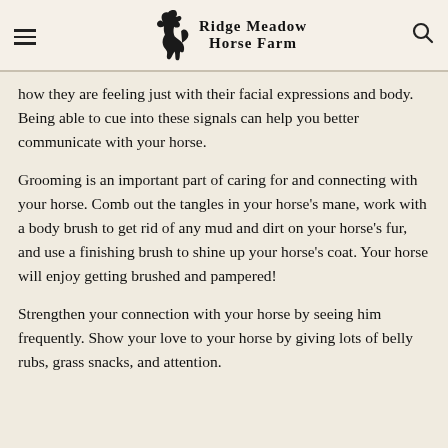Ridge Meadow Horse Farm
how they are feeling just with their facial expressions and body. Being able to cue into these signals can help you better communicate with your horse.
Grooming is an important part of caring for and connecting with your horse. Comb out the tangles in your horse's mane, work with a body brush to get rid of any mud and dirt on your horse's fur, and use a finishing brush to shine up your horse's coat. Your horse will enjoy getting brushed and pampered!
Strengthen your connection with your horse by seeing him frequently. Show your love to your horse by giving lots of belly rubs, grass snacks, and attention.